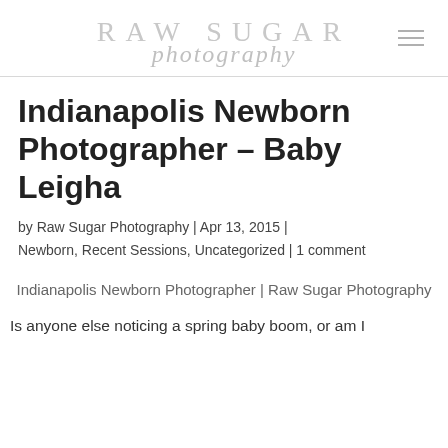RAW SUGAR photography
Indianapolis Newborn Photographer – Baby Leigha
by Raw Sugar Photography | Apr 13, 2015 | Newborn, Recent Sessions, Uncategorized | 1 comment
Indianapolis Newborn Photographer | Raw Sugar Photography
Is anyone else noticing a spring baby boom, or am I